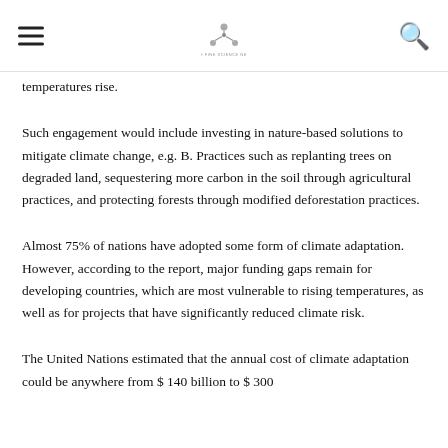[hamburger menu] [logo] [search icon]
temperatures rise.
Such engagement would include investing in nature-based solutions to mitigate climate change, e.g. B. Practices such as replanting trees on degraded land, sequestering more carbon in the soil through agricultural practices, and protecting forests through modified deforestation practices.
Almost 75% of nations have adopted some form of climate adaptation. However, according to the report, major funding gaps remain for developing countries, which are most vulnerable to rising temperatures, as well as for projects that have significantly reduced climate risk.
The United Nations estimated that the annual cost of climate adaptation could be anywhere from $ 140 billion to $ 300